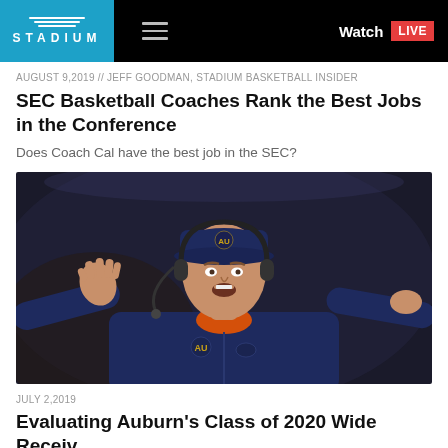STADIUM — Watch LIVE
AUGUST 9,2019 // JEFF GOODMAN, STADIUM BASKETBALL INSIDER
SEC Basketball Coaches Rank the Best Jobs in the Conference
Does Coach Cal have the best job in the SEC?
[Figure (photo): A coach wearing an Auburn navy blue jacket and cap with orange collar, wearing headphones, gesturing with his right hand raised, photographed at a sporting event.]
JULY 2,2019
Evaluating Auburn's Class of 2020 Wide Receiver...